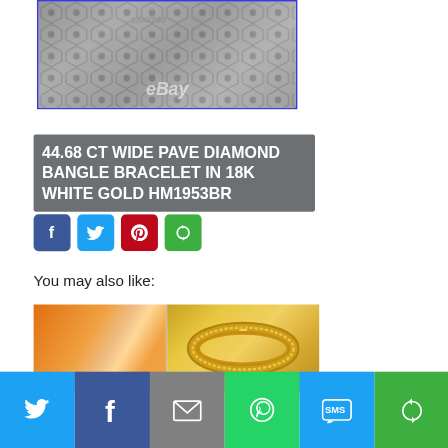[Figure (photo): Close-up of a diamond pave bangle bracelet back showing 18K/750 hallmark stamp, with eBay watermark overlay]
44.68 CT WIDE PAVE DIAMOND BANGLE BRACELET IN 18K WHITE GOLD HM1953BR
[Figure (infographic): Social sharing buttons: Facebook, Twitter, Pinterest, More]
You may also like:
[Figure (photo): Orange/blurred jewelry thumbnail image]
[Figure (photo): Gold chain bracelet thumbnail]
[Figure (infographic): Bottom share bar with Twitter, Facebook, Email, WhatsApp, SMS, More buttons]